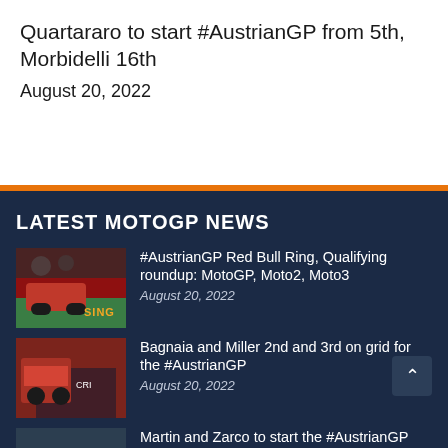Quartararo to start #AustrianGP from 5th, Morbidelli 16th
August 20, 2022
LATEST MOTOGP NEWS
#AustrianGP Red Bull Ring, Qualifying roundup: MotoGP, Moto2, Moto3
August 20, 2022
Bagnaia and Miller 2nd and 3rd on grid for the #AustrianGP
August 20, 2022
Martin and Zarco to start the #AustrianGP from 4th and 6th on the grid